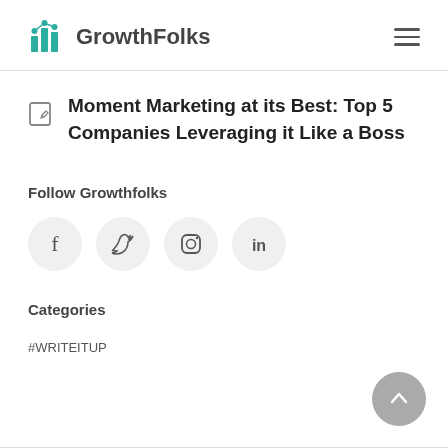GrowthFolks
Moment Marketing at its Best: Top 5 Companies Leveraging it Like a Boss
Follow Growthfolks
[Figure (infographic): Four social media icon circles: Facebook, Twitter, Instagram, LinkedIn on light grey backgrounds]
Categories
#WRITEITUP